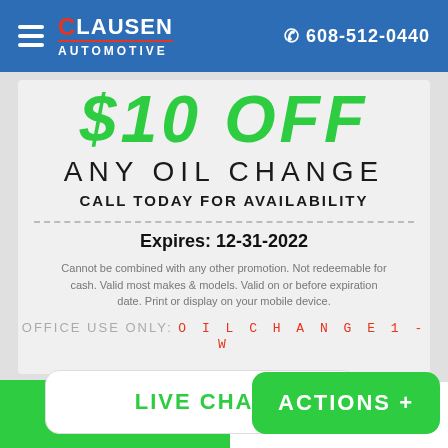Clausen Automotive | 608-512-0440
$10 OFF
ANY OIL CHANGE
CALL TODAY FOR AVAILABILITY
Expires: 12-31-2022
Cannot be combined with any other promotion. Not redeemable for cash. Valid most makes & models. Valid on or before expiration date. Print or display on your mobile device.
OFFICE USE ONLY: OILCHANGE1-W
LIVE CHAT
ACTIONS +